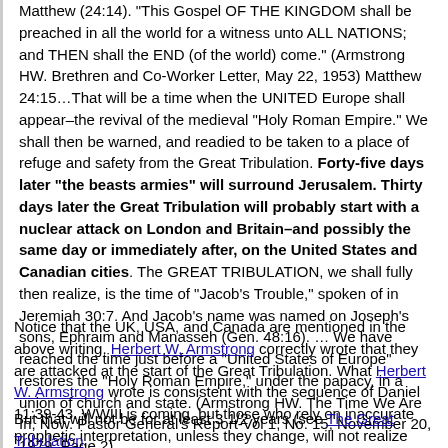Matthew (24:14). "This Gospel OF THE KINGDOM shall be preached in all the world for a witness unto ALL NATIONS; and THEN shall the END (of the world) come." (Armstrong HW. Brethren and Co-Worker Letter, May 22, 1953) Matthew 24:15…That will be a time when the UNITED Europe shall appear–the revival of the medieval "Holy Roman Empire." We shall then be warned, and readied to be taken to a place of refuge and safety from the Great Tribulation. Forty-five days later "the beasts armies" will surround Jerusalem. Thirty days later the Great Tribulation will probably start with a nuclear attack on London and Britain–and possibly the same day or immediately after, on the United States and Canadian cities. The GREAT TRIBULATION, we shall fully then realize, is the time of "Jacob's Trouble," spoken of in Jeremiah 30:7. And Jacob's name was named on Joseph's sons, Ephraim and Manasseh (Gen. 48:16). … We have reached the time just before a "United States of Europe" restores the "Holy Roman Empire," under the papacy, in a union of church and state. (Armstrong HW. The Time We Are In, Now. Pastor General's Report-Vol 1, No. 15, November 20, 1979, Page 2).
Notice that the UK, USA, and Canada are mentioned in the above writing. Herbert W. Armstrong correctly wrote that they are attacked at the start of the Great Tribulation. What Herbert W. Armstrong wrote is consistent with the sequence of Daniel 11:39-43. WWIII is coming, but those who rely on inaccurate prophetic interpretation, unless they change, will not realize what is happening until after the Great Tribulation begins.
But that will not be for at least 3 1/2 years (see The Great Tribulation